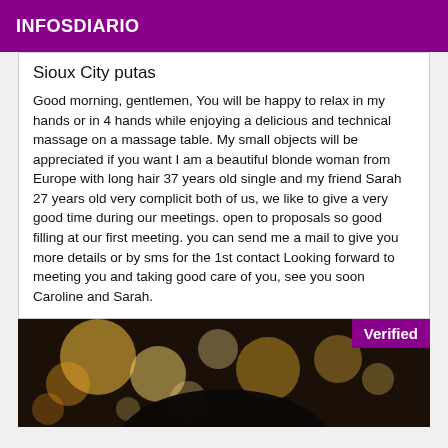INFOSDIARIO
Sioux City putas
Good morning, gentlemen, You will be happy to relax in my hands or in 4 hands while enjoying a delicious and technical massage on a massage table. My small objects will be appreciated if you want I am a beautiful blonde woman from Europe with long hair 37 years old single and my friend Sarah 27 years old very complicit both of us, we like to give a very good time during our meetings. open to proposals so good filling at our first meeting. you can send me a mail to give you more details or by sms for the 1st contact Looking forward to meeting you and taking good care of you, see you soon Caroline and Sarah.
[Figure (photo): Blurred bokeh photo with warm light circles, person in foreground dark silhouette, with a purple 'Verified' badge in top-right corner]